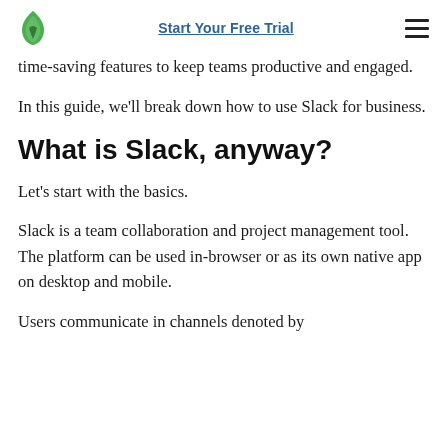Start Your Free Trial
time-saving features to keep teams productive and engaged.
In this guide, we'll break down how to use Slack for business.
What is Slack, anyway?
Let's start with the basics.
Slack is a team collaboration and project management tool. The platform can be used in-browser or as its own native app on desktop and mobile.
Users communicate in channels denoted by